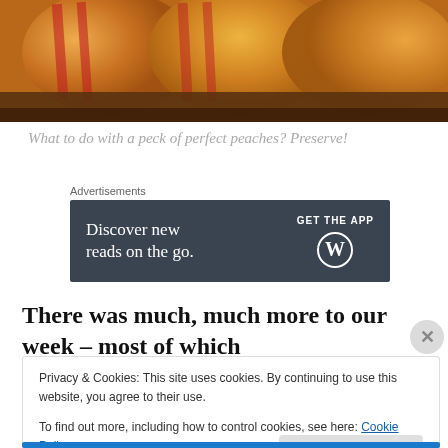[Figure (photo): Close-up photo of golden-orange peach preserves or whole peaches in a wooden tray with red accents, warm amber tones]
What to do with a peck of perfect peaches? Preserve!
Advertisements
[Figure (infographic): Dark slate-colored advertisement banner reading 'Discover new reads on the go.' with 'GET THE APP' call to action and WordPress logo]
There was much, much more to our week – most of which
Privacy & Cookies: This site uses cookies. By continuing to use this website, you agree to their use.
To find out more, including how to control cookies, see here: Cookie Policy
Close and accept